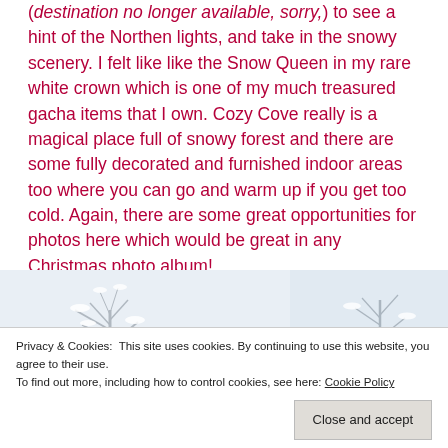(destination no longer available, sorry,) to see a hint of the Northen lights, and take in the snowy scenery. I felt like like the Snow Queen in my rare white crown which is one of my much treasured gacha items that I own. Cozy Cove really is a magical place full of snowy forest and there are some fully decorated and furnished indoor areas too where you can go and warm up if you get too cold. Again, there are some great opportunities for photos here which would be great in any Christmas photo album!
[Figure (photo): Snowy winter scene with snow-covered trees, winter landscape photograph]
Privacy & Cookies: This site uses cookies. By continuing to use this website, you agree to their use.
To find out more, including how to control cookies, see here: Cookie Policy
Close and accept